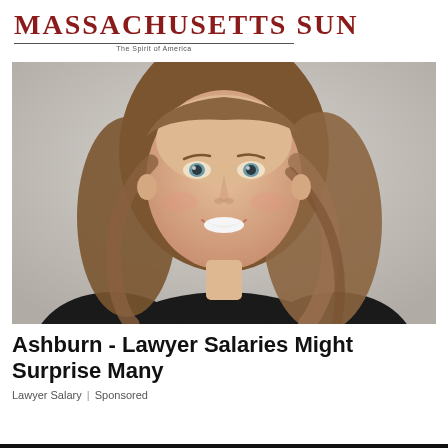[Figure (logo): Massachusetts Sun newspaper logo with tagline 'The Spirit of America']
[Figure (photo): Portrait photo of a smiling woman with brown hair against a grey background, wearing a dark top]
Ashburn - Lawyer Salaries Might Surprise Many
Lawyer Salary | Sponsored